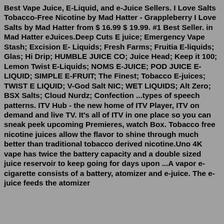Best Vape Juice, E-Liquid, and e-Juice Sellers. I Love Salts Tobacco-Free Nicotine by Mad Hatter - Grappleberry I Love Salts by Mad Hatter from $ 16.99 $ 19.99. #1 Best Seller. in Mad Hatter eJuices.Deep Cuts E juice; Emergency Vape Stash; Excision E- Liquids; Fresh Farms; Fruitia E-liquids; Glas; Hi Drip; HUMBLE JUICE CO; Juice Head; Keep it 100; Lemon Twist E-Liquids; NOMS E-JUICE; POD JUICE E-LIQUID; SIMPLE E-FRUIT; The Finest; Tobacco E-juices; TWIST E LIQUID; V-God Salt NIC; WET LIQUIDS; Alt Zero; BSX Salts; Cloud Nurdz; Confection ...types of speech patterns. ITV Hub - the new home of ITV Player, ITV on demand and live TV. It's all of ITV in one place so you can sneak peek upcoming Premieres, watch Box. Tobacco free nicotine juices allow the flavor to shine through much better than traditional tobacco derived nicotine.Uno 4K vape has twice the battery capacity and a double sized juice reservoir to keep going for days upon ...A vapor e-cigarette consists of a battery, atomizer and e-juice. The e-juice feeds the atomizer...